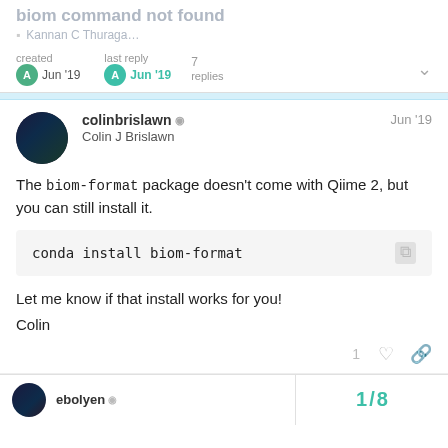biom command not found
created Jun '19   last reply Jun '19   7 replies
colinbrislawn Colin J Brislawn Jun '19
The biom-format package doesn't come with Qiime 2, but you can still install it.
Let me know if that install works for you!
Colin
1 like, reply, link
ebolyen   1 / 8